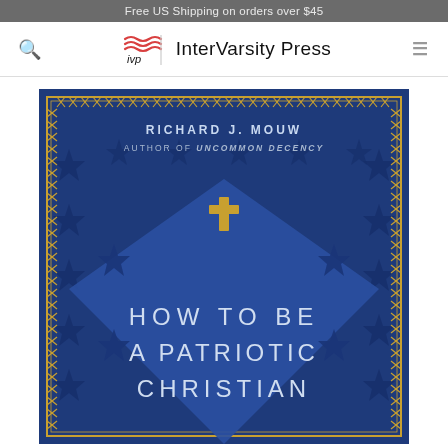Free US Shipping on orders over $45
[Figure (logo): InterVarsity Press logo with IVP icon and text]
[Figure (illustration): Book cover of 'How to Be a Patriotic Christian' by Richard J. Mouw, Author of Uncommon Decency. Dark blue background with American stars pattern, gold geometric border, diamond shape in center with gold cross, title text in white.]